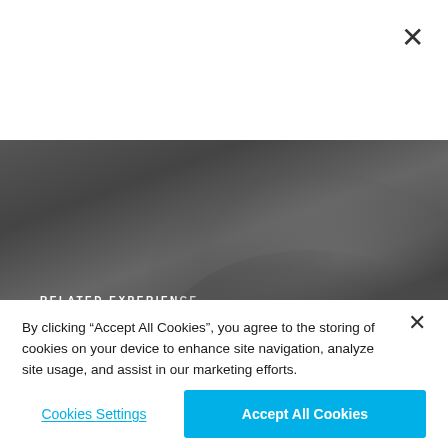[Figure (screenshot): Dark gray banner/background area representing a blurred car image with the text 'RELATED EXPERIENCE' and 'Drive Mercedes-AMG 63 H...' overlaid in white]
RELATED EXPERIENCE
Drive Mercedes-AMG 63 H...
By clicking “Accept All Cookies”, you agree to the storing of cookies on your device to enhance site navigation, analyze site usage, and assist in our marketing efforts.
Cookies Settings
Accept All Cookies